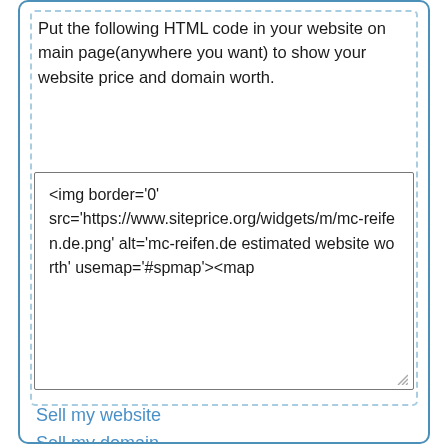Put the following HTML code in your website on main page(anywhere you want) to show your website price and domain worth.
<img border='0' src='https://www.siteprice.org/widgets/m/mc-reifen.de.png' alt='mc-reifen.de estimated website worth' usemap='#spmap'><map
Sell my website
Sell my domain
If you own this website and want to sell on siteprice.org, just register and verificate it. siteprice.org allows people contact with you who may interest with your website/domain. You can sell your domain name with website hosting.